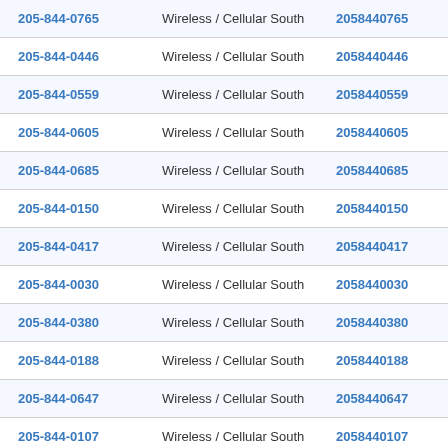| Phone | Type | Number | Action |
| --- | --- | --- | --- |
| 205-844-0765 | Wireless / Cellular South | 2058440765 | View Res |
| 205-844-0446 | Wireless / Cellular South | 2058440446 | View Res |
| 205-844-0559 | Wireless / Cellular South | 2058440559 | View Res |
| 205-844-0605 | Wireless / Cellular South | 2058440605 | View Res |
| 205-844-0685 | Wireless / Cellular South | 2058440685 | View Res |
| 205-844-0150 | Wireless / Cellular South | 2058440150 | View Res |
| 205-844-0417 | Wireless / Cellular South | 2058440417 | View Res |
| 205-844-0030 | Wireless / Cellular South | 2058440030 | View Res |
| 205-844-0380 | Wireless / Cellular South | 2058440380 | View Res |
| 205-844-0188 | Wireless / Cellular South | 2058440188 | View Res |
| 205-844-0647 | Wireless / Cellular South | 2058440647 | View Res |
| 205-844-0107 | Wireless / Cellular South | 2058440107 | View Res |
| 205-844-0483 | Wireless / Cellular South | 2058440483 | View Res |
| 205-844-0777 | Wireless / Cellular South | 2058440777 | View Res |
| 205-844-0463 | Wireless / Cellular South | 2058440463 | View Res |
| 205-844-0838 | Wireless / Cellular South | 2058440838 | Res |
| 205-844-0856 | Wireless / Cellular South | 2058440856 | View Res |
| 205-844-0612 | Wireless / Cellular South | 2058440612 | View Res |